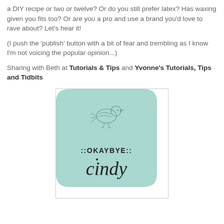a DIY recipe or two or twelve?  Or do you still prefer latex?  Has waxing given you fits too?  Or are you a pro and use a brand you'd love to rave about?  Let's hear it!
(I push the 'publish' button with a bit of fear and trembling as I know I'm not voicing the popular opinion...)
Sharing with Beth at Tutorials & Tips and Yvonne's Tutorials, Tips and Tidbits
[Figure (logo): Logo for 'okaybye cindy' blog featuring a small bird illustration above the text '::OKAYBYE::' and 'cindy' in italic script, all on a mint/teal badge-shaped background]